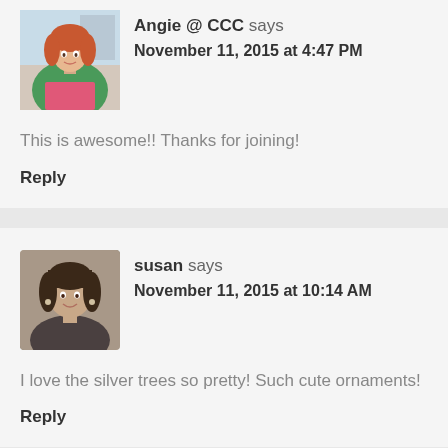Angie @ CCC says
November 11, 2015 at 4:47 PM
This is awesome!! Thanks for joining!
Reply
susan says
November 11, 2015 at 10:14 AM
I love the silver trees so pretty! Such cute ornaments!
Reply